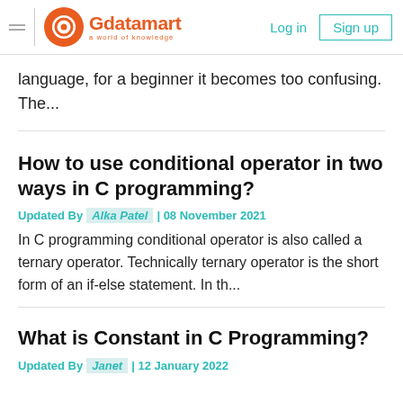Gdatamart — a world of knowledge | Log in | Sign up
language, for a beginner it becomes too confusing. The...
How to use conditional operator in two ways in C programming?
Updated By Alka Patel | 08 November 2021
In C programming conditional operator is also called a ternary operator. Technically ternary operator is the short form of an if-else statement. In th...
What is Constant in C Programming?
Updated By Janet | 12 January 2022